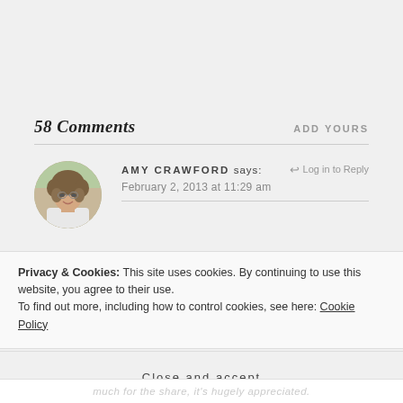58 Comments
ADD YOURS
AMY CRAWFORD says:
February 2, 2013 at 11:29 am
Log in to Reply
[Figure (photo): Circular avatar photo of Amy Crawford, a woman with curly hair wearing white, photographed outdoors.]
Privacy & Cookies: This site uses cookies. By continuing to use this website, you agree to their use.
To find out more, including how to control cookies, see here: Cookie Policy
Close and accept
much for the share, it's hugely appreciated.